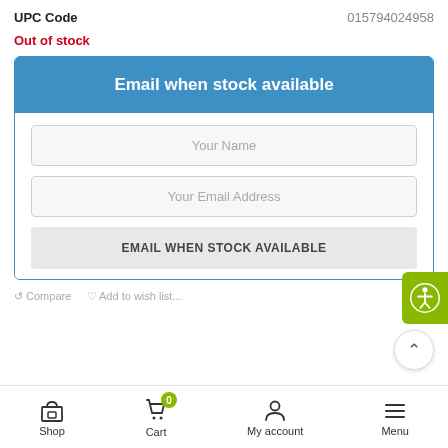UPC Code   015794024958
Out of stock
Email when stock available
[Figure (screenshot): Form with Your Name and Your Email Address input fields and an EMAIL WHEN STOCK AVAILABLE submit button]
Shop   Cart (0)   My account   Menu